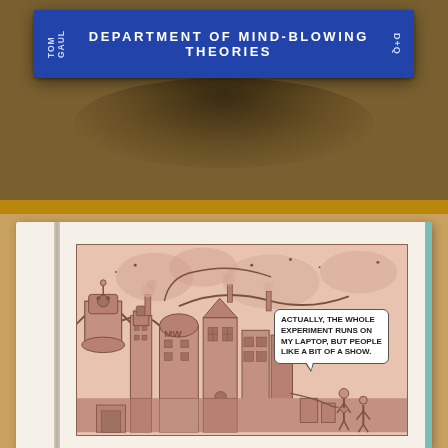[Figure (photo): Photograph of the spine of a blue hardcover book titled 'Department of Mind-Blowing Theories' with 'D+Q' publisher logo on the right side. Author names visible on left spine. Book is resting on a wooden surface with shadow below.]
[Figure (photo): Photograph of an open book showing a comic panel illustration. The panel depicts a fantastical steampunk cityscape with towering machines, robots, and buildings in a pink/brown ink style. Two small figures stand in the foreground on the right. A speech bubble reads: 'ACTUALLY, THE WHOLE EXPERIMENT RUNS ON MY LAPTOP, BUT PEOPLE LIKE A BIT OF A SHOW.']